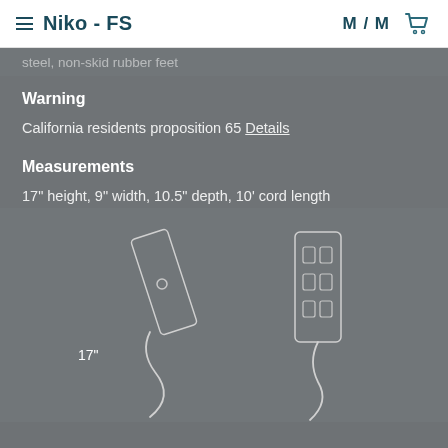Niko - FS   M/M
steel, non-skid rubber feet
Warning
California residents proposition 65 Details
Measurements
17" height, 9" width, 10.5" depth, 10' cord length
[Figure (engineering-diagram): Line drawing diagrams of the Niko FS floor power strip unit shown from two angles — a side/angled view and a front view with outlet slots visible. The side view shows the cord looping at the bottom, a button on the body, and dimension label '17"' indicating the height.]